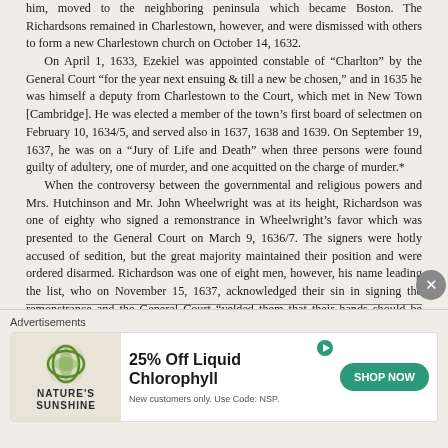him, moved to the neighboring peninsula which became Boston. The Richardsons remained in Charlestown, however, and were dismissed with others to form a new Charlestown church on October 14, 1632.

On April 1, 1633, Ezekiel was appointed constable of "Charlton" by the General Court "for the year next ensuing & till a new be chosen," and in 1635 he was himself a deputy from Charlestown to the Court, which met in New Town [Cambridge]. He was elected a member of the town's first board of selectmen on February 10, 1634/5, and served also in 1637, 1638 and 1639. On September 19, 1637, he was on a "Jury of Life and Death" when three persons were found guilty of adultery, one of murder, and one acquitted on the charge of murder.*

When the controversy between the governmental and religious powers and Mrs. Hutchinson and Mr. John Wheelwright was at its height, Richardson was one of eighty who signed a remonstrance in Wheelwright's favor which was presented to the General Court on March 9, 1636/7. The signers were hotly accused of sedition, but the great majority maintained their position and were ordered disarmed. Richardson was one of eight men, however, his name leading the list, who on November 15, 1637, acknowledged their sin in signing the remonstrance and the General Court "yelded them that their hands should be crossed out." They were not disarmed. Whether their action was one of
* Records of the Governor and Council of Massachusetts Bay, Boston, 1853, I: 104, 156, 293.
Advertisements
[Figure (other): Advertisement for Nature's Sunshine showing logo and '25% Off Liquid Chlorophyll' with Shop Now button. New customers only. Use Code: NSP.]